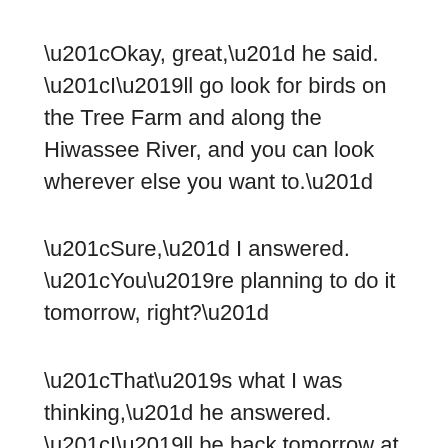“Okay, great,” he said. “I’ll go look for birds on the Tree Farm and along the Hiwassee River, and you can look wherever else you want to.”
“Sure,” I answered. “You’re planning to do it tomorrow, right?”
“That’s what I was thinking,” he answered. “I’ll be back tomorrow at 5:00 p.m. to add them up.”
At 6:30 a.m. my brother Clement and I each grabbed binoculars, bird book, pen, and